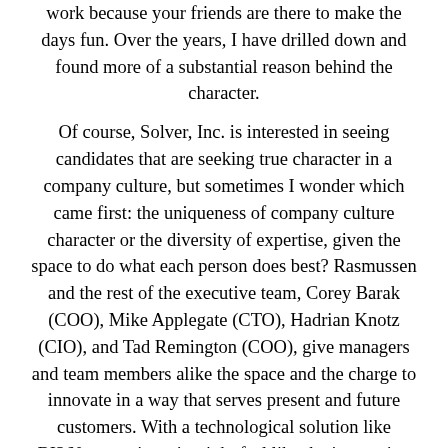work because your friends are there to make the days fun. Over the years, I have drilled down and found more of a substantial reason behind the character.

Of course, Solver, Inc. is interested in seeing candidates that are seeking true character in a company culture, but sometimes I wonder which came first: the uniqueness of company culture character or the diversity of expertise, given the space to do what each person does best? Rasmussen and the rest of the executive team, Corey Barak (COO), Mike Applegate (CTO), Hadrian Knotz (CIO), and Tad Remington (COO), give managers and team members alike the space and the charge to innovate in a way that serves present and future customers. With a technological solution like BI360, sometimes it might feel like the innovation can get